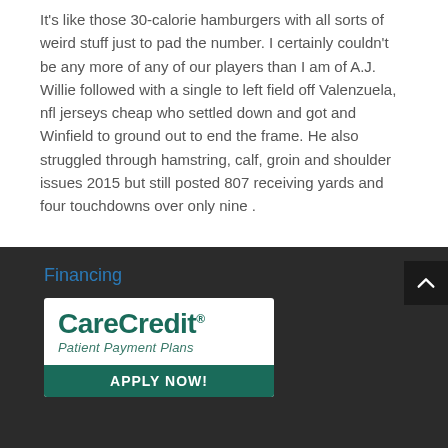It's like those 30-calorie hamburgers with all sorts of weird stuff just to pad the number. I certainly couldn't be any more of any of our players than I am of A.J. Willie followed with a single to left field off Valenzuela, nfl jerseys cheap who settled down and got and Winfield to ground out to end the frame. He also struggled through hamstring, calf, groin and shoulder issues 2015 but still posted 807 receiving yards and four touchdowns over only nine .
Financing
[Figure (logo): CareCredit Patient Payment Plans logo with APPLY NOW! button in green]